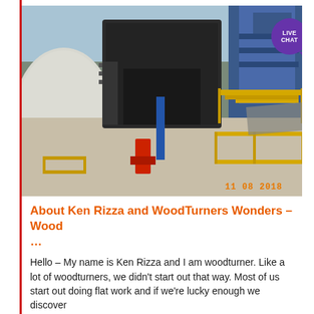[Figure (photo): Industrial facility photo showing large wind turbine blades or industrial machinery, with blue structural elements, a central dark machine housing, yellow railings, and a red piece of equipment. Photo timestamp reads 11 08 2018. A 'LIVE CHAT' speech bubble button overlays the top right corner.]
About Ken Rizza and WoodTurners Wonders – Wood ...
Hello – My name is Ken Rizza and I am woodturner. Like a lot of woodturners, we didn't start out that way. Most of us start out doing flat work and if we're lucky enough we discover